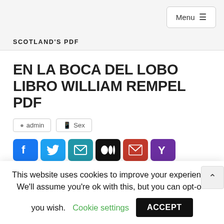SCOTLAND'S PDF
EN LA BOCA DEL LOBO LIBRO WILLIAM REMPEL PDF
admin   Sex
[Figure (other): Row of social sharing icons: Facebook (blue), Twitter (blue), Email (teal), Medium (black), Gmail (red), Yammer (purple)]
This website uses cookies to improve your experience. We'll assume you're ok with this, but you can opt-out if you wish.  Cookie settings  ACCEPT